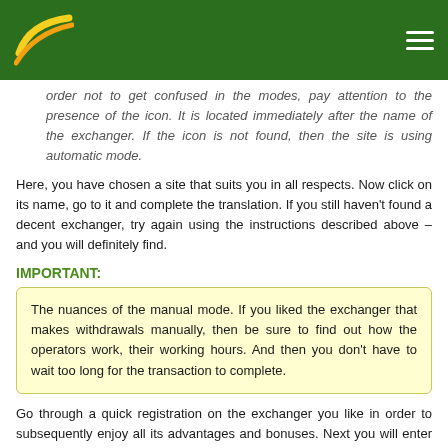[Logo and navigation bar]
order not to get confused in the modes, pay attention to the presence of the icon. It is located immediately after the name of the exchanger. If the icon is not found, then the site is using automatic mode.
Here, you have chosen a site that suits you in all respects. Now click on its name, go to it and complete the translation. If you still haven't found a decent exchanger, try again using the instructions described above – and you will definitely find.
IMPORTANT:
The nuances of the manual mode. If you liked the exchanger that makes withdrawals manually, then be sure to find out how the operators work, their working hours. And then you don't have to wait too long for the transaction to complete.
Go through a quick registration on the exchanger you like in order to subsequently enjoy all its advantages and bonuses. Next you will enter the site already under his nickname, and you will accumulate discounts, which is very beneficial.
The transfer fee. Many exchangers charge additional funds for the procedure, pay attention to this.
Read more about the description of the table, learn how to correctly understand the information written there. This will make it possible to effectively search and find exchange sites, the parameters of which suit you.